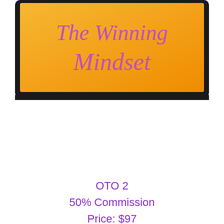[Figure (screenshot): A laptop or monitor screen showing an orange/yellow gradient background with the text 'The Winning Mindset' in purple/lavender serif font. The device has a dark bezel frame.]
OTO 2
50% Commission
Price: $97